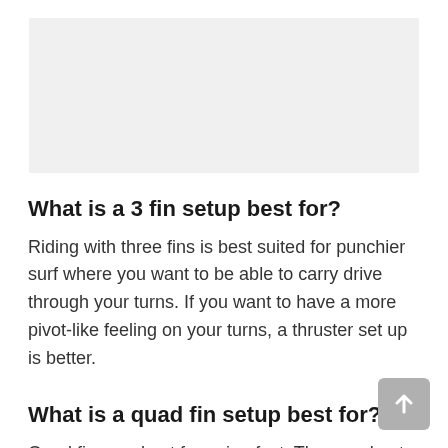[Figure (photo): Gray placeholder image area at top of page]
What is a 3 fin setup best for?
Riding with three fins is best suited for punchier surf where you want to be able to carry drive through your turns. If you want to have a more pivot-like feeling on your turns, a thruster set up is better.
What is a quad fin setup best for?
Quad fins are best for going fast. They are best suited for smaller surf where you need the extra